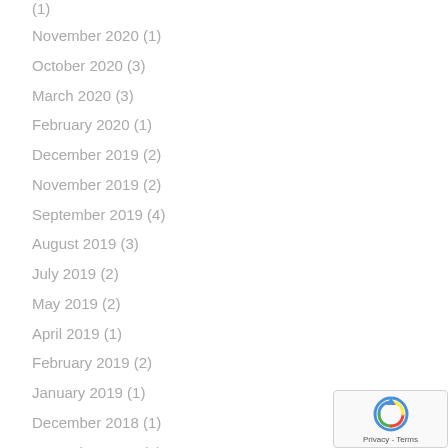(?) [truncated top]
November 2020 (1)
October 2020 (3)
March 2020 (3)
February 2020 (1)
December 2019 (2)
November 2019 (2)
September 2019 (4)
August 2019 (3)
July 2019 (2)
May 2019 (2)
April 2019 (1)
February 2019 (2)
January 2019 (1)
December 2018 (1)
November 2018 (2)
October 2018 (2)